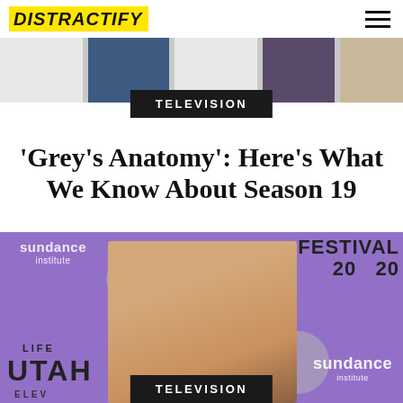DISTRACTIFY
[Figure (photo): Top banner image strip showing partial figures in blue and purple clothing]
TELEVISION
'Grey's Anatomy': Here's What We Know About Season 19
[Figure (photo): Woman with blonde hair and red lipstick at Sundance Film Festival, purple backdrop with Sundance Institute branding, Utah Life Elevated signage]
TELEVISION